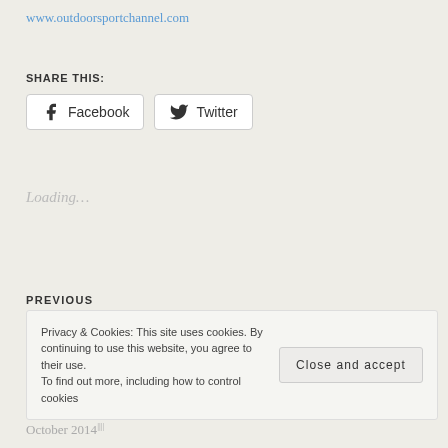www.outdoorsportchannel.com
SHARE THIS:
Facebook  Twitter
Loading…
PREVIOUS
Outdoor Sport Channel®, available on New York City based Nimble TV.
Privacy & Cookies: This site uses cookies. By continuing to use this website, you agree to their use. To find out more, including how to control cookies
Close and accept
October 2014